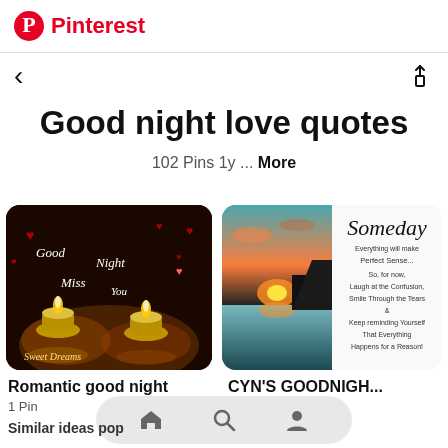Pinterest
Good night love quotes
102 Pins 1y ... More
[Figure (screenshot): Romantic good night candles image with text 'Good Night Miss You Sweet Dreams']
Romantic good night
1 Pin
[Figure (screenshot): CYN'S GOODNIGHT board with a sunset lake photo and a 'Someday' inspirational quote image]
CYN'S GOODNIGH...
Similar ideas pop